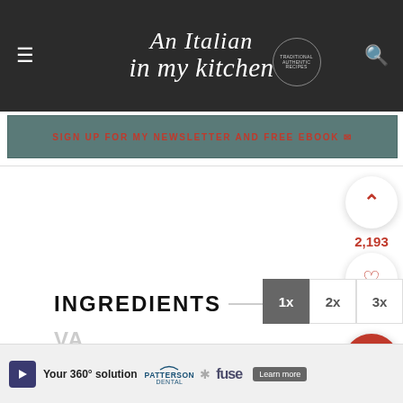An Italian in my kitchen
SIGN UP FOR MY NEWSLETTER AND FREE EBOOK ✉
2,193
INGREDIENTS
VA
[Figure (screenshot): Advertisement banner: 'Your 360° solution' featuring Patterson Dental and Fuse logos with a Learn more button]